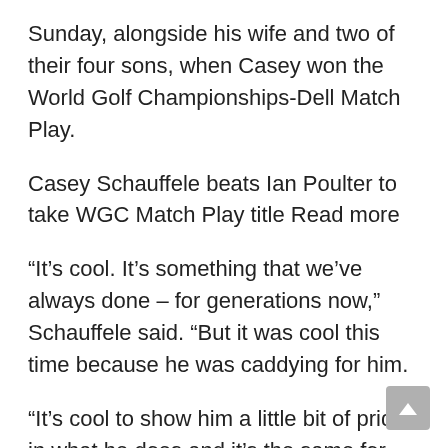Sunday, alongside his wife and two of their four sons, when Casey won the World Golf Championships-Dell Match Play.
Casey Schauffele beats Ian Poulter to take WGC Match Play title Read more
“It’s cool. It’s something that we’ve always done – for generations now,” Schauffele said. “But it was cool this time because he was caddying for him.
“It’s cool to show him a little bit of pride in what he does and it’s the same for me. But